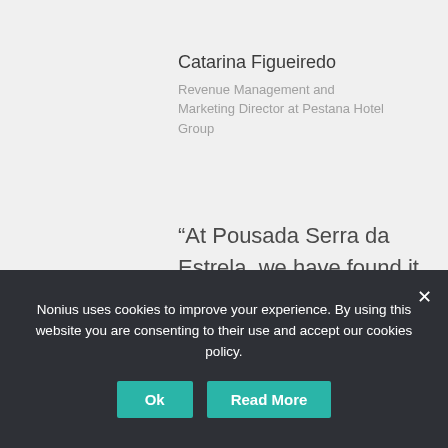Catarina Figueiredo
Revenue Management and Marketing Director at Pestana Hotel Group
“At Pousada Serra da Estrela, we have found it very easy for both customers and the team to use all the potentialities of
Nonius uses cookies to improve your experience. By using this website you are consenting to their use and accept our cookies policy.